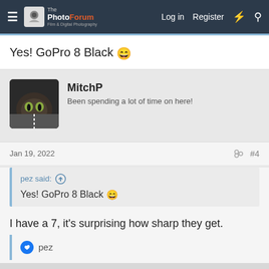The PhotoForum | Log in | Register
Yes! GoPro 8 Black 😄
MitchP
Been spending a lot of time on here!
Jan 19, 2022   #4
pez said: ↑
Yes! GoPro 8 Black 😄
I have a 7, it's surprising how sharp they get.
👍 pez